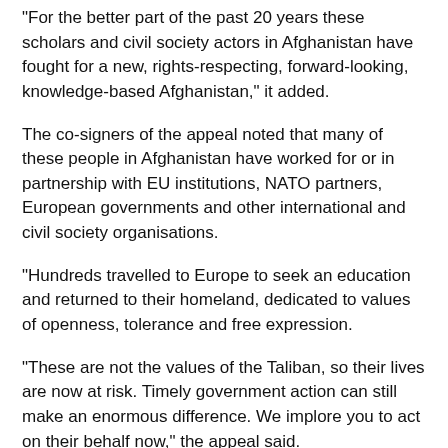“For the better part of the past 20 years these scholars and civil society actors in Afghanistan have fought for a new, rights-respecting, forward-looking, knowledge-based Afghanistan,” it added.
The co-signers of the appeal noted that many of these people in Afghanistan have worked for or in partnership with EU institutions, NATO partners, European governments and other international and civil society organisations.
“Hundreds travelled to Europe to seek an education and returned to their homeland, dedicated to values of openness, tolerance and free expression.
“These are not the values of the Taliban, so their lives are now at risk. Timely government action can still make an enormous difference. We implore you to act on their behalf now,” the appeal said.